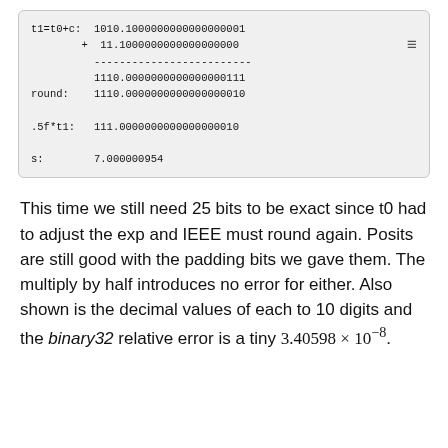[Figure (other): Code/computation box showing binary floating point addition steps: t1=t0+c with binary representations, rounding, .5f*t1, and s decimal value.]
This time we still need 25 bits to be exact since t0 had to adjust the exp and IEEE must round again. Posits are still good with the padding bits we gave them. The multiply by half introduces no error for either. Also shown is the decimal values of each to 10 digits and the binary32 relative error is a tiny 3.40598 × 10⁻⁸.